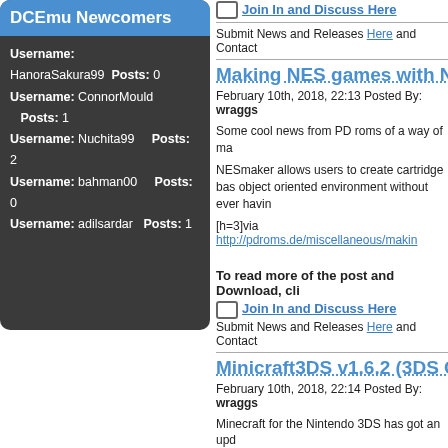DCEmu Newcomers
Username: HanoraSakura99  Posts: 0
Username: ConnorMould    Posts: 1
Username: Nuchita99      Posts: 2
Username: bahman00       Posts: 0
Username: adilsardar     Posts: 1
Join In and Discuss Here
Submit News and Releases Here and Contact
Making NES games with N
February 10th, 2018, 22:13 Posted By: wraggs
Some cool news from PD roms of a way of ma
NESmaker allows users to create cartridge bas object oriented environment without ever havin
[h=3]via http://pdroms.de/miscellaneous/makin
To read more of the post and Download, cli
Join In and Discuss Here
Submit News and Releases Here and Contact
Minicraft3DS v1.6.2 (3DS G
February 10th, 2018, 22:14 Posted By: wraggs
Minecraft for the Nintendo 3DS has got an upd